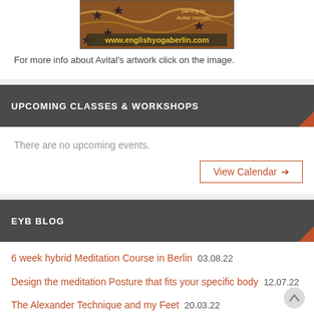[Figure (illustration): Decorative artwork image showing painting with text 'painting by Avital Yomdin' and 'www.englishyogaberlin.com' overlaid on orange/dark background]
For more info about Avital's artwork click on the image.
UPCOMING CLASSES & WORKSHOPS
There are no upcoming events.
View Calendar →
EYB BLOG
6 week hybrid Meditation Course in Berlin 03.08.22
Design the meditation Posture that fits your specific body 12.07.22
The Alexander Technique and my Feet 20.03.22